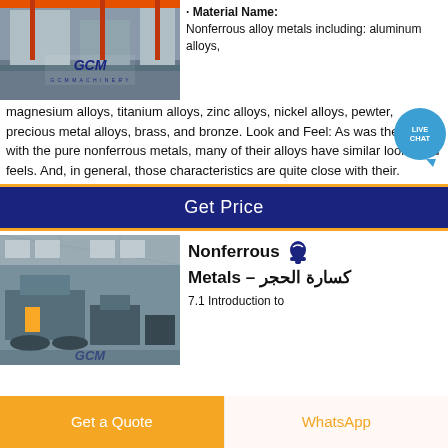[Figure (photo): GCM Machinery factory floor with industrial equipment, orange and blue colors, GCM logo visible]
· Material Name: Nonferrous alloy metals including: aluminum alloys, magnesium alloys, titanium alloys, zinc alloys, nickel alloys, pewter, precious metal alloys, brass, and bronze. Look and Feel: As was the case with the pure nonferrous metals, many of their alloys have similar looks and feels. And, in general, those characteristics are quite close with their.
Get Price
[Figure (photo): GCM Machinery large industrial hall with heavy machinery and equipment, GCM logo visible]
Nonferrous Metals – كسارة الحجر
7.1 Introduction to
Get a Quote
WhatsApp